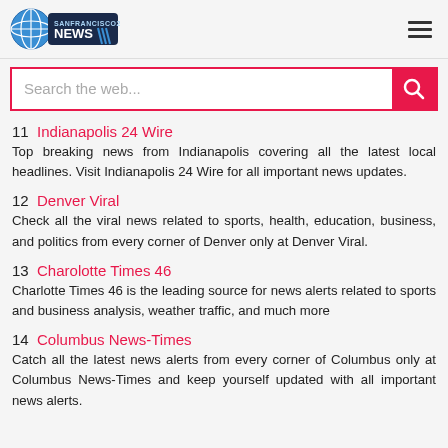SAN FRANCISCO 24 NEWS
11  Indianapolis 24 Wire
Top breaking news from Indianapolis covering all the latest local headlines. Visit Indianapolis 24 Wire for all important news updates.
12  Denver Viral
Check all the viral news related to sports, health, education, business, and politics from every corner of Denver only at Denver Viral.
13  Charolotte Times 46
Charlotte Times 46 is the leading source for news alerts related to sports and business analysis, weather traffic, and much more
14  Columbus News-Times
Catch all the latest news alerts from every corner of Columbus only at Columbus News-Times and keep yourself updated with all important news alerts.